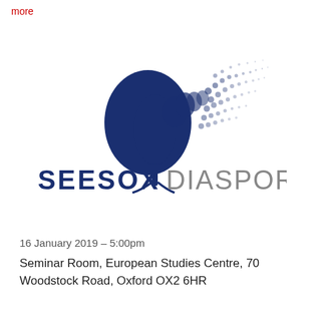more
[Figure (logo): SEESOX DIASPORA logo featuring a dark blue tree on the left side that dissolves into scattered particles/birds on the right side, with the text SEESOX in dark navy and DIASPORA in grey below the tree image.]
16 January 2019 – 5:00pm
Seminar Room, European Studies Centre, 70 Woodstock Road, Oxford OX2 6HR